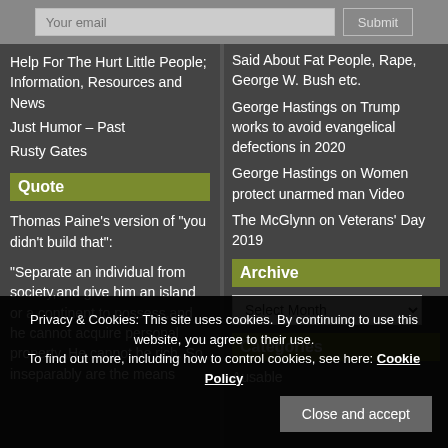Your email
Submit
Help For The Hurt Little People; Information, Resources and News
Just Humor – Past
Rusty Gates
Quote
Thomas Paine's version of "you didn't build that":
"Separate an individual from society,and give him an island or a continent to possess,and he cannot acquire personal property. He cannot be rich. So inseparably are the means...
Said About Fat People, Rape, George W. Bush etc.
George Hastings on Trump works to avoid evangelical defections in 2020
George Hastings on Women protect unarmed man Video
The McGlynn on Veterans' Day 2019
Archive
Select Month
Categories
Ausable
Privacy & Cookies: This site uses cookies. By continuing to use this website, you agree to their use.
To find out more, including how to control cookies, see here: Cookie Policy
Close and accept